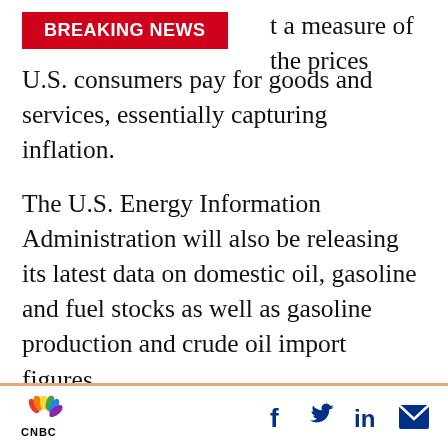[Figure (other): BREAKING NEWS red banner overlay]
t a measure of the prices U.S. consumers pay for goods and services, essentially capturing inflation.
The U.S. Energy Information Administration will also be releasing its latest data on domestic oil, gasoline and fuel stocks as well as gasoline production and crude oil import figures.
On Tuesday, U.S. President Joe Biden delivered a speech urging Americans to get vaccinated. He also said those who are fully vaccinated can safely celebrate the holidays. The rapidly spreading strain is now the dominant Covid
CNBC logo and social share icons (Facebook, Twitter, LinkedIn, Email)